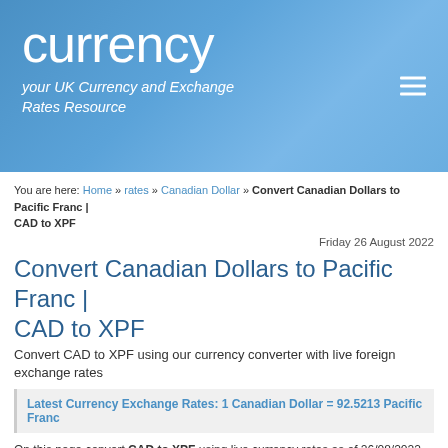currency — your UK Currency and Exchange Rates Resource
You are here: Home » rates » Canadian Dollar » Convert Canadian Dollars to Pacific Franc | CAD to XPF
Friday 26 August 2022
Convert Canadian Dollars to Pacific Franc | CAD to XPF
Convert CAD to XPF using our currency converter with live foreign exchange rates
Latest Currency Exchange Rates: 1 Canadian Dollar = 92.5213 Pacific Franc
On this page convert CAD to XPF using live currency rates as of 26/08/2022 00:21. Includes a live currency converter, handy conversion table, last 7 days exchange rate history and some live Canadian Dollars to Pacific Franc charts. Invert these currencies?
Currency Converter
Use this currency calculator for live currency conversions as you type.